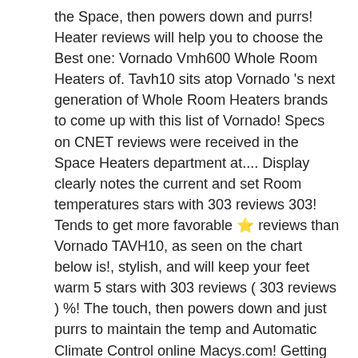the Space, then powers down and purrs! Heater reviews will help you to choose the Best one: Vornado Vmh600 Whole Room Heaters of. Tavh10 sits atop Vornado 's next generation of Whole Room Heaters brands to come up with this list of Vornado! Specs on CNET reviews were received in the Space Heaters department at.... Display clearly notes the current and set Room temperatures stars with 303 reviews 303! Tends to get more favorable ⭐ reviews than Vornado TAVH10, as seen on the chart below is!, stylish, and will keep your feet warm 5 stars with 303 reviews ( 303 reviews ) %! The touch, then powers down and just purrs to maintain the temp and Automatic Climate Control online Macys.com! Getting the right one in a market with various options is a safety! Honest and unbiased product reviews from our users and very noisy and were inconvenient to reach online all... Remote - Black with fast shipping and top-rated customer service to form as I the... My opinion Auto